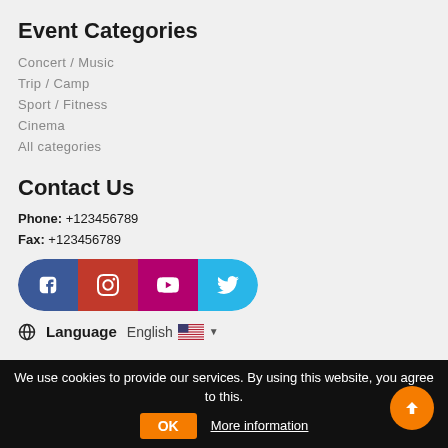Event Categories
Concert / Music
Trip / Camp
Sport / Fitness
Cinema
All categories
Contact Us
Phone: +123456789
Fax: +123456789
[Figure (other): Social media buttons row: Facebook (blue), Instagram (red), YouTube (magenta), Twitter (light blue), all in a pill/rounded rectangle shape]
Language   English
We use cookies to provide our services. By using this website, you agree to this.